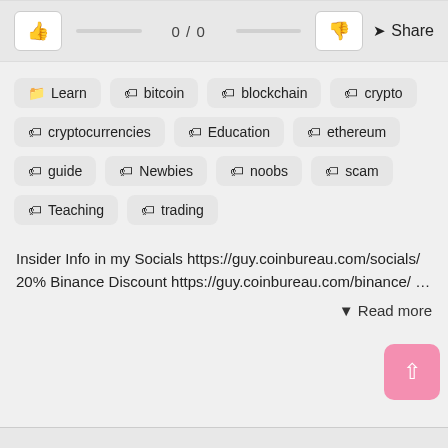[Figure (screenshot): Like/dislike voting bar with thumbs up button, 0/0 score, thumbs down button, and Share button]
Learn
bitcoin
blockchain
crypto
cryptocurrencies
Education
ethereum
guide
Newbies
noobs
scam
Teaching
trading
Insider Info in my Socials https://guy.coinbureau.com/socials/ 20% Binance Discount https://guy.coinbureau.com/binance/ ...
▼ Read more